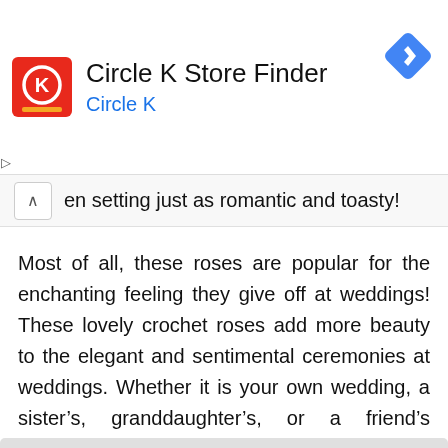[Figure (screenshot): Circle K Store Finder advertisement banner with Circle K logo (red square with K), title 'Circle K Store Finder', subtitle 'Circle K' in blue, and a blue navigation diamond icon on the right]
en setting just as romantic and toasty!
Most of all, these roses are popular for the enchanting feeling they give off at weddings! These lovely crochet roses add more beauty to the elegant and sentimental ceremonies at weddings. Whether it is your own wedding, a sister’s, granddaughter’s, or a friend’s wedding, this rose pattern can be that special ingredient that will complete the big day.